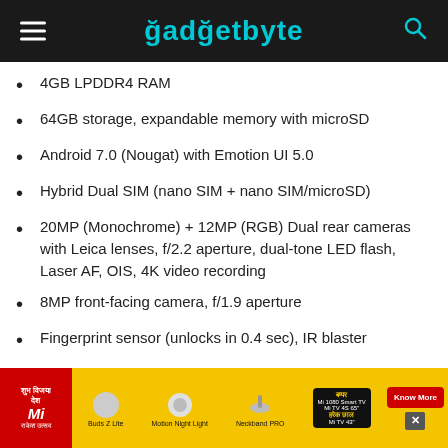gadgetbyte
4GB LPDDR4 RAM
64GB storage, expandable memory with microSD
Android 7.0 (Nougat) with Emotion UI 5.0
Hybrid Dual SIM (nano SIM + nano SIM/microSD)
20MP (Monochrome) + 12MP (RGB) Dual rear cameras with Leica lenses, f/2.2 aperture, dual-tone LED flash, Laser AF, OIS, 4K video recording
8MP front-facing camera, f/1.9 aperture
Fingerprint sensor (unlocks in 0.4 sec), IR blaster
Dimensions: 156.9 x 78.9 x 7.9mm; Weight: 190g
[Figure (infographic): Advertisement banner for Mi products in yellow background with red Mi logo, product images and Know More button]